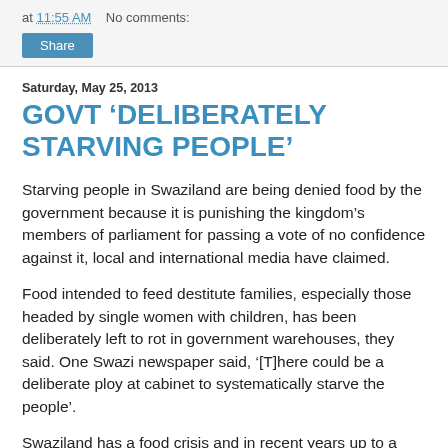at 11:55 AM   No comments:
Share
Saturday, May 25, 2013
GOVT ‘DELIBERATELY STARVING PEOPLE’
Starving people in Swaziland are being denied food by the government because it is punishing the kingdom’s members of parliament for passing a vote of no confidence against it, local and international media have claimed.
Food intended to feed destitute families, especially those headed by single women with children, has been deliberately left to rot in government warehouses, they said. One Swazi newspaper said, ‘[T]here could be a deliberate ploy at cabinet to systematically starve the people’.
Swaziland has a food crisis and in recent years up to a half of Swaziland’s 1.1 million population have relied on donated